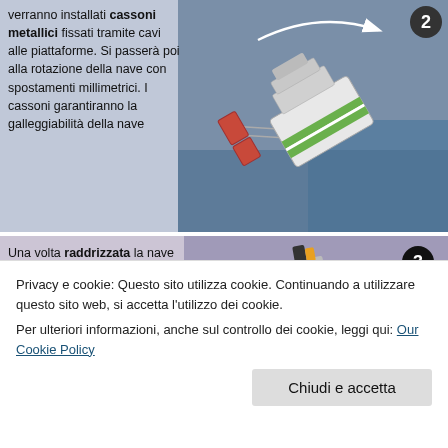[Figure (photo): Aerial/model view of a capsized ship (Costa Concordia) being refloated, with metal caissons and cables visible. Step 2 badge in top right corner.]
verranno installati cassoni metallici fissati tramite cavi alle piattaforme. Si passerà poi alla rotazione della nave con spostamenti millimetrici. I cassoni garantiranno la galleggiabilità della nave
[Figure (photo): Model/photo of the ship being righted, showing metal flotation caissons on the side. Step 3 badge in top right corner.]
Una volta raddrizzata la nave verranno installati cassoni galleggianti anche sulla fiancata di destra per stabilizzarla
Privacy e cookie: Questo sito utilizza cookie. Continuando a utilizzare questo sito web, si accetta l'utilizzo dei cookie.
Per ulteriori informazioni, anche sul controllo dei cookie, leggi qui: Our Cookie Policy